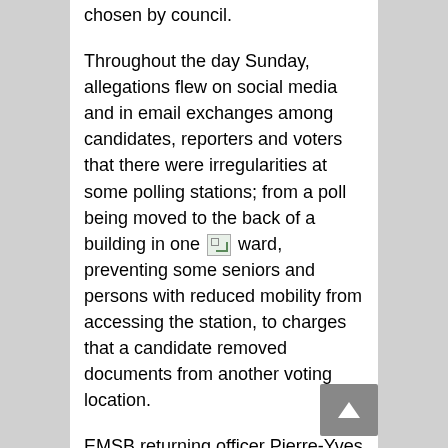chosen by council.
Throughout the day Sunday, allegations flew on social media and in email exchanges among candidates, reporters and voters that there were irregularities at some polling stations; from a poll being moved to the back of a building in one ward, preventing some seniors and persons with reduced mobility from accessing the station, to charges that a candidate removed documents from another voting location.
EMSB returning officer Pierre-Yves Bazzaz says he heard all the complaints, but was cautious about commenting on them.
“Of course what I have heard are rumours so far,” he told The Suburban Sunday evening before the polls closed.